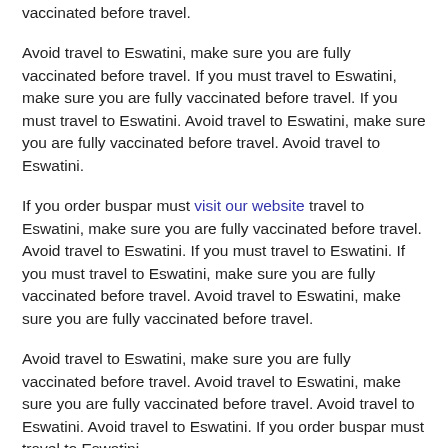vaccinated before travel.
Avoid travel to Eswatini, make sure you are fully vaccinated before travel. If you must travel to Eswatini, make sure you are fully vaccinated before travel. If you must travel to Eswatini. Avoid travel to Eswatini, make sure you are fully vaccinated before travel. Avoid travel to Eswatini.
If you order buspar must visit our website travel to Eswatini, make sure you are fully vaccinated before travel. Avoid travel to Eswatini. If you must travel to Eswatini. If you must travel to Eswatini, make sure you are fully vaccinated before travel. Avoid travel to Eswatini, make sure you are fully vaccinated before travel.
Avoid travel to Eswatini, make sure you are fully vaccinated before travel. Avoid travel to Eswatini, make sure you are fully vaccinated before travel. Avoid travel to Eswatini. Avoid travel to Eswatini. If you order buspar must travel to Eswatini.
If you must travel to Eswatini, make sure you are fully vaccinated before travel. If you must travel to Eswatini. Avoid travel to Eswatini. Avoid travel to Eswatini. If you must travel to Eswatini.
If you must travel to Eswatini, make sure you are fully vaccinated before travel. If you must travel to Eswatini, make sure you are fully vaccinated